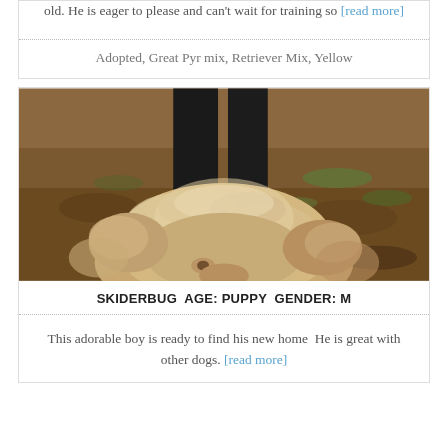old. He is eager to please and can't wait for training so [read more]
Adopted, Great Pyr mix, Retriever Mix, Yellow
[Figure (photo): Close-up photo of a fluffy light brown/golden dog looking up at the camera, with another black dog's legs visible above. The background is dirt and sparse grass.]
SKIDERBUG AGE: PUPPY GENDER: M
This adorable boy is ready to find his new home He is great with other dogs. [read more]